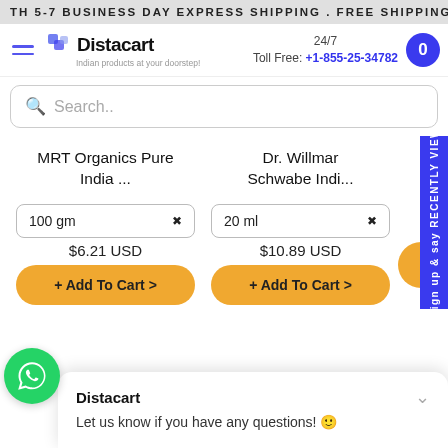TH 5-7 BUSINESS DAY EXPRESS SHIPPING . FREE SHIPPING >$
[Figure (screenshot): Distacart website header with logo, 24/7 toll free number +1-855-25-34782, and cart button]
Search..
MRT Organics Pure India ...
Dr. Willmar Schwabe Indi...
100 gm
$6.21 USD
+ Add To Cart >
20 ml
$10.89 USD
+ Add To Cart >
Sign up & say RECENTLY VIEW
Distacart
Let us know if you have any questions! 😊